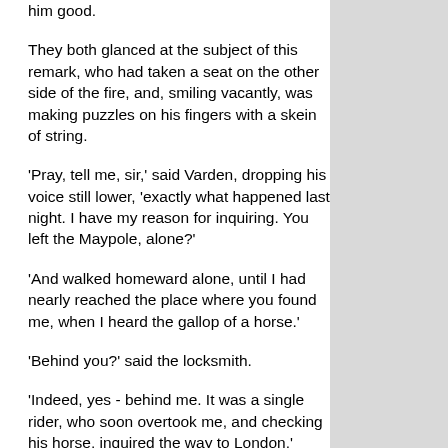him good.
They both glanced at the subject of this remark, who had taken a seat on the other side of the fire, and, smiling vacantly, was making puzzles on his fingers with a skein of string.
'Pray, tell me, sir,' said Varden, dropping his voice still lower, 'exactly what happened last night. I have my reason for inquiring. You left the Maypole, alone?'
'And walked homeward alone, until I had nearly reached the place where you found me, when I heard the gallop of a horse.'
'Behind you?' said the locksmith.
'Indeed, yes - behind me. It was a single rider, who soon overtook me, and checking his horse, inquired the way to London.'
'You were on the alert, sir, knowing how many highwaymen there are, scouring the roads in all directions?' said Varden.